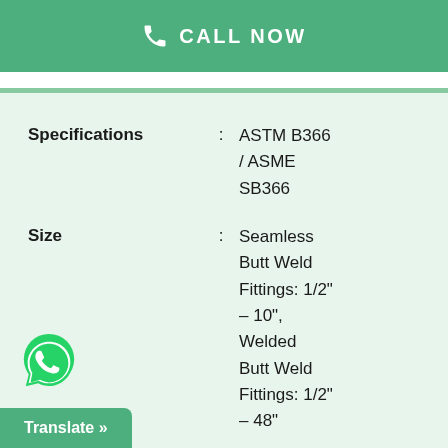CALL NOW
Specifications : ASTM B366 / ASME SB366
Size : Seamless Butt Weld Fittings: 1/2" – 10", Welded Butt Weld Fittings: 1/2" – 48"
Translate »